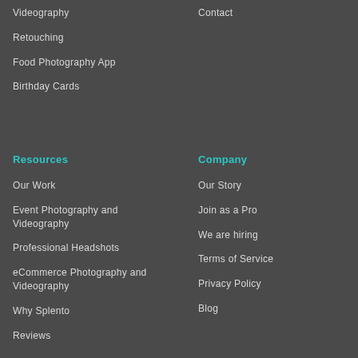Videography
Contact
Retouching
Food Photography App
Birthday Cards
Resources
Company
Our Work
Our Story
Event Photography and Videography
Join as a Pro
We are hiring
Professional Headshots
Terms of Service
eCommerce Photography and Videography
Privacy Policy
Blog
Why Splento
Reviews